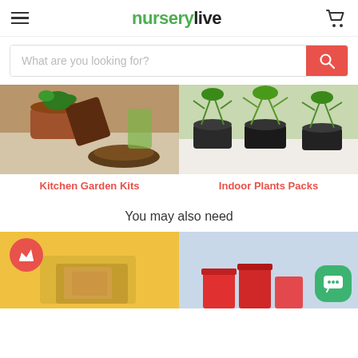nurserylive
What are you looking for?
[Figure (photo): Photo of plant pots with soil mix and brown potting medium - Kitchen Garden Kits category]
Kitchen Garden Kits
[Figure (photo): Photo of multiple green indoor plants in black pots - Indoor Plants Packs category]
Indoor Plants Packs
You may also need
[Figure (photo): Product image with red crown badge overlay - bottom left]
[Figure (photo): Product image with green chat/message badge overlay - bottom right]